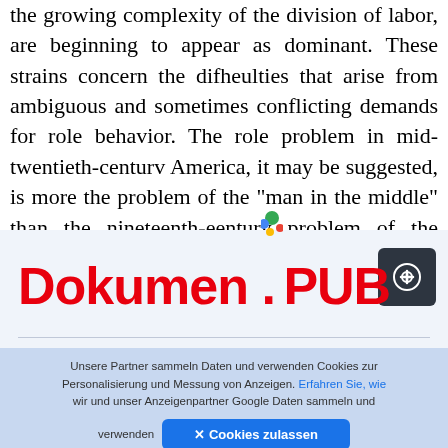the growing complexity of the division of labor, are beginning to appear as dominant. These strains concern the difheulties that arise from ambiguous and sometimes conflicting demands for role behavior. The role problem in mid-twentieth-centurv America, it may be suggested, is more the problem of the "man in the middle" than the nineteenth-eenturv problem of the "exploited wort
[Figure (logo): Dokumen.PUB logo with red bold text and a colorful dot above the period]
Unsere Partner sammeln Daten und verwenden Cookies zur Personalisierung und Messung von Anzeigen. Erfahren Sie, wie wir und unser Anzeigenpartner Google Daten sammeln und verwenden ✕ Cookies zulassen